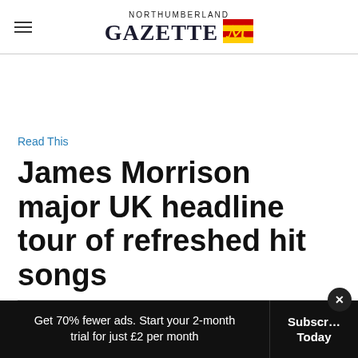NORTHUMBERLAND GAZETTE
Read This
James Morrison major UK headline tour of refreshed hit songs
By Nigel Booth
Get 70% fewer ads. Start your 2-month trial for just £2 per month
Subscribe Today